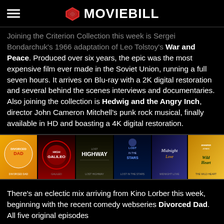MOVIEBILL
Joining the Criterion Collection this week is Sergei Bondarchuk's 1966 adaptation of Leo Tolstoy's War and Peace. Produced over six years, the epic was the most expensive film ever made in the Soviet Union, running a full seven hours. It arrives on Blu-ray with a 2K digital restoration and several behind the scenes interviews and documentaries. Also joining the collection is Hedwig and the Angry Inch, director John Cameron Mitchell's punk rock musical, finally available in HD and boasting a 4K digital restoration.
[Figure (photo): A horizontal strip of movie poster thumbnails including: Divorced Dad, Galileo, Lost Highway, Lost in the Stars, Midnight Love, and The Wild Heart]
There's an eclectic mix arriving from Kino Lorber this week, beginning with the recent comedy webseries Divorced Dad. All five original episodes